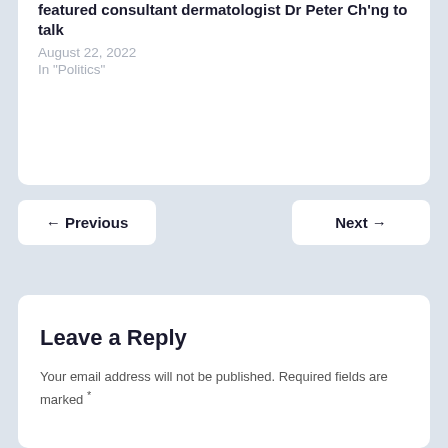featured consultant dermatologist Dr Peter Ch'ng to talk
August 22, 2022
In "Politics"
← Previous
Next →
Leave a Reply
Your email address will not be published. Required fields are marked *